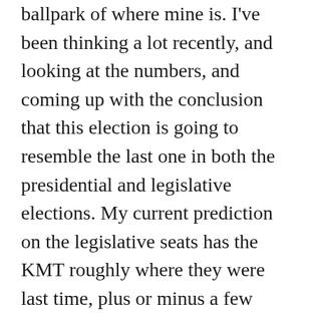ballpark of where mine is. I've been thinking a lot recently, and looking at the numbers, and coming up with the conclusion that this election is going to resemble the last one in both the presidential and legislative elections. My current prediction on the legislative seats has the KMT roughly where they were last time, plus or minus a few seats (if I had to pick a five seat spread, I'm now at about 33-37 as things stand now, but frankly I think the trend puts it more along the lines of 31-36). Similarly, the DPP will roughly in the ballpark of last time. The unknown is the third parties and independents. Like The Froze I think they won't get much in